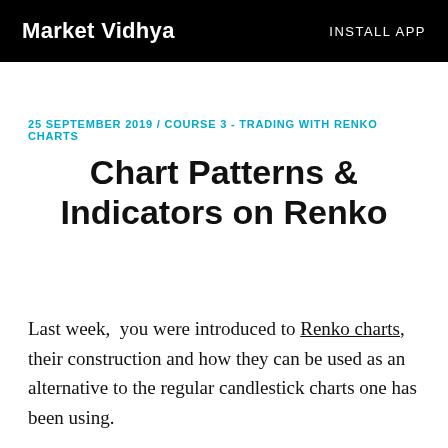Market Vidhya   INSTALL APP
25 SEPTEMBER 2019 / COURSE 3 - TRADING WITH RENKO CHARTS
Chart Patterns & Indicators on Renko
Last week,  you were introduced to Renko charts, their construction and how they can be used as an alternative to the regular candlestick charts one has been using.